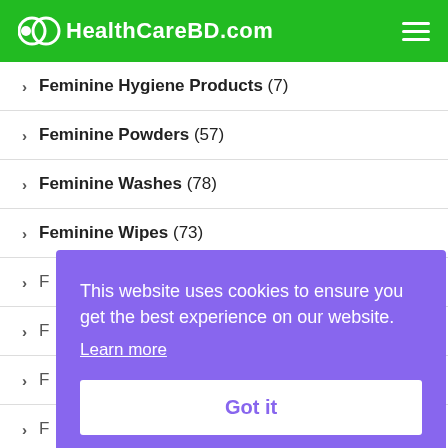HealthCareBD.com
Feminine Hygiene Products (7)
Feminine Powders (57)
Feminine Washes (78)
Feminine Wipes (73)
F [partially obscured]
F [partially obscured]
F [partially obscured]
F [partially obscured]
F [partially obscured]
This website uses cookies to ensure you get the best experience on our website. Learn more
Fitness (15)